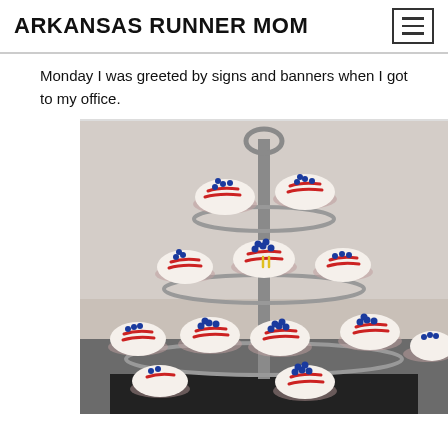ARKANSAS RUNNER MOM
Monday I was greeted by signs and banners when I got to my office.
[Figure (photo): A tiered metal cupcake stand holding multiple cupcakes decorated with white frosting, red stripe designs, and blue round candy decorations on a beige/grey background.]